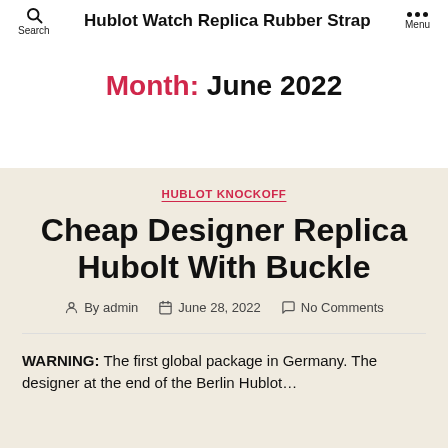Hublot Watch Replica Rubber Strap
Month: June 2022
HUBLOT KNOCKOFF
Cheap Designer Replica Hubolt With Buckle
By admin  June 28, 2022  No Comments
WARNING: The first global package in Germany. The designer at the end of the Berlin Hublot…